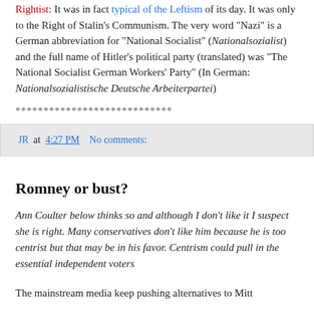Rightist: It was in fact typical of the Leftism of its day. It was only to the Right of Stalin's Communism. The very word "Nazi" is a German abbreviation for "National Socialist" (Nationalsozialist) and the full name of Hitler's political party (translated) was "The National Socialist German Workers' Party" (In German: Nationalsozialistische Deutsche Arbeiterpartei)
****************************
JR at 4:27 PM    No comments:
Romney or bust?
Ann Coulter below thinks so and although I don't like it I suspect she is right. Many conservatives don't like him because he is too centrist but that may be in his favor. Centrism could pull in the essential independent voters
The mainstream media keep pushing alternatives to Mitt